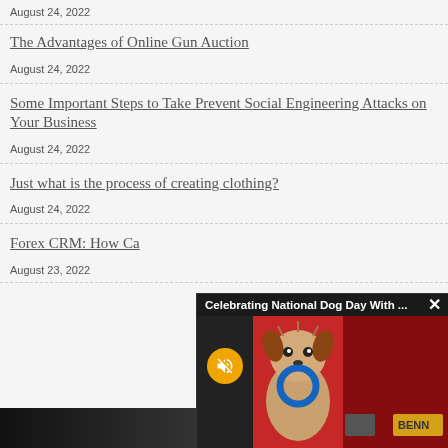August 24, 2022
The Advantages of Online Gun Auction
August 24, 2022
Some Important Steps to Take Prevent Social Engineering Attacks on Your Business
August 24, 2022
Just what is the process of creating clothing?
August 24, 2022
Forex CRM: How Ca...
August 23, 2022
[Figure (screenshot): A video popup overlay with dark header reading 'Celebrating National Dog Day With ...' and a close button (X), showing a dog (Yorkshire Terrier) holding a blue ring toy against a red background, with a yellow mute button in the lower left. Bottom right shows 'BENN' text.]